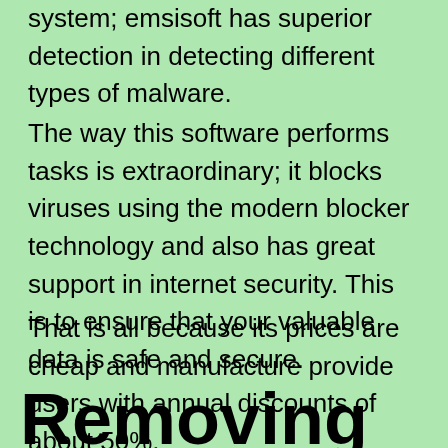system; emsisoft has superior detection in detecting different types of malware.
The way this software performs tasks is extraordinary; it blocks viruses using the modern blocker technology and also has great support in internet security. This is to ensure that your valuable data is safe and secure.
That is all because its prices are cheap and manufacture provide users with annual discounts of about 50%.
Removing an